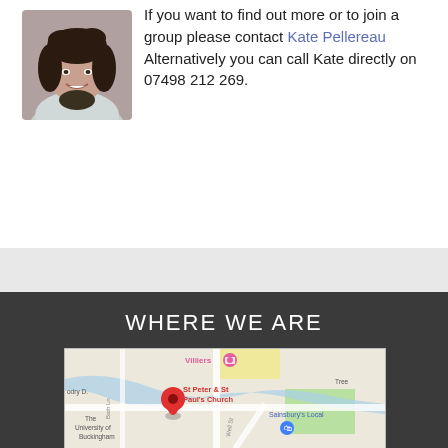[Figure (photo): Portrait photo of a smiling woman with dark curly hair, wearing a light jacket]
If you want to find out more or to join a group please contact Kate Pellereau Alternatively you can call Kate directly on 07498 212 269.
WHERE WE ARE
[Figure (map): Google Maps screenshot showing St Peter & St Paul's Church in Buckingham, with a red location pin marker. Also shows The University of Buckingham, Sainsbury's Local, Villiers, and surrounding streets including Bath Ln, Well St.]